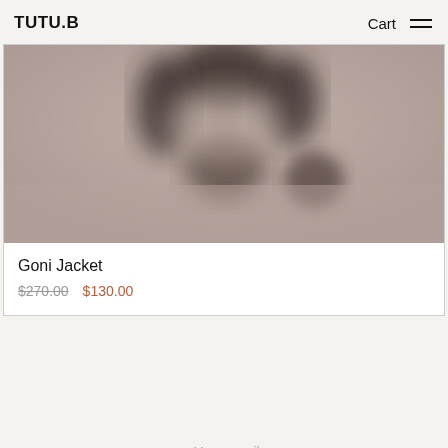TUTU.B  Cart ☰
[Figure (photo): Blurred product photo showing the shoulders/collar area of a jacket against a muted warm background]
Goni Jacket
$270.00   $130.00
Get our newsletter
Your email